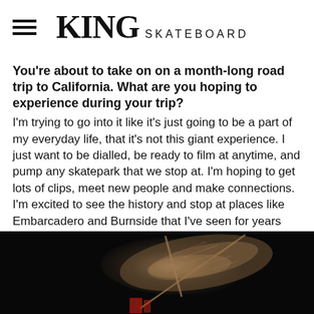KING SKATEBOARD
You're about to take on on a month-long road trip to California. What are you hoping to experience during your trip?
I'm trying to go into it like it's just going to be a part of my everyday life, that it's not this giant experience. I just want to be dialled, be ready to film at anytime, and pump any skatepark that we stop at. I'm hoping to get lots of clips, meet new people and make connections. I'm excited to see the history and stop at places like Embarcadero and Burnside that I've seen for years and years. To be able to drive there with my homie Ante Thompson, on a mission, makes me really excited.
[Figure (photo): Dark photograph showing a feather or plant with wispy strands against a black background, with a diagonal line element visible]